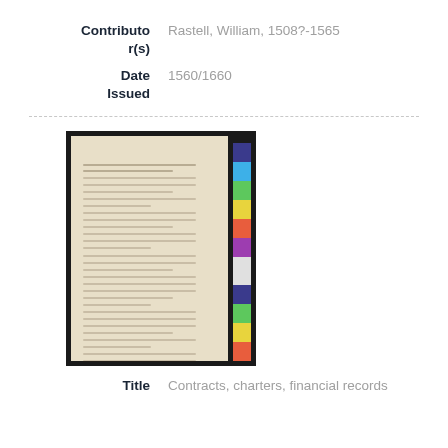| Field | Value |
| --- | --- |
| Contributor(s) | Rastell, William, 1508?-1565 |
| Date Issued | 1560/1660 |
[Figure (photo): Photograph of an open manuscript book with handwritten text in old script, with a color calibration strip visible on the right side of the image.]
| Field | Value |
| --- | --- |
| Title | Contracts, charters, financial records |